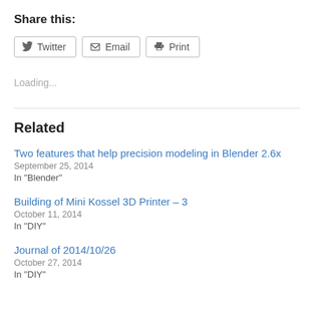Share this:
Twitter  Email  Print
Loading...
Related
Two features that help precision modeling in Blender 2.6x
September 25, 2014
In "Blender"
Building of Mini Kossel 3D Printer – 3
October 11, 2014
In "DIY"
Journal of 2014/10/26
October 27, 2014
In "DIY"